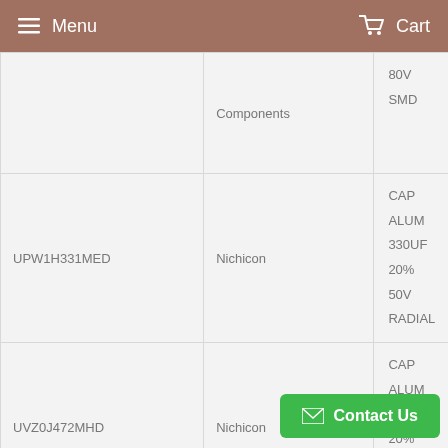Menu   Cart
| Part | Manufacturer | Description |
| --- | --- | --- |
|  | Components | 80V
SMD |
| UPW1H331MED | Nichicon | CAP
ALUM
330UF
20%
50V
RADIAL |
| UVZ0J472MHD | Nichicon | CAP
ALUM
4700UF
20%
6.3V
RADIAL |
Contact Us